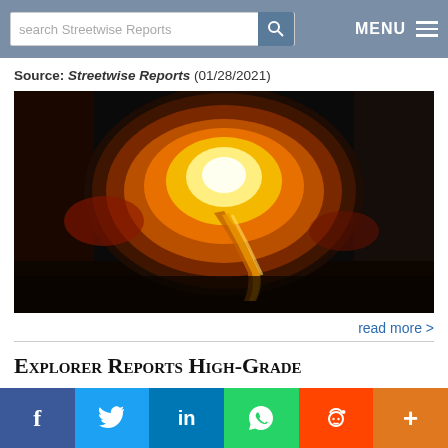search Streetwise Reports  MENU
Source: Streetwise Reports (01/28/2021)
[Figure (photo): Molten metal being poured from a furnace, glowing bright yellow-orange, industrial mining/smelting scene]
read more >
Explorer Reports High-Grade